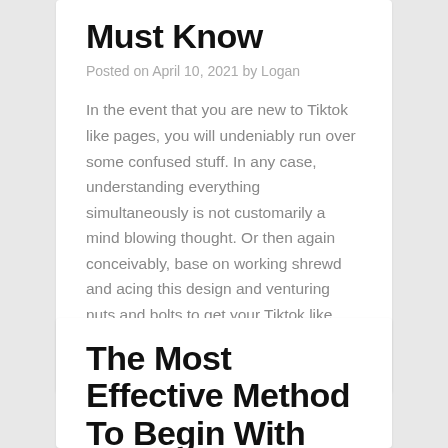Must Know
Posted on April 10, 2021 by Logan
In the event that you are new to Tiktok like pages, you will undeniably run over some confused stuff. In any case, understanding everything simultaneously is not customarily a mind blowing thought. Or then again conceivably, base on working shrewd and acing this design and venturing nuts and bolts to get your Tiktok like page…
The Most Effective Method To Begin With